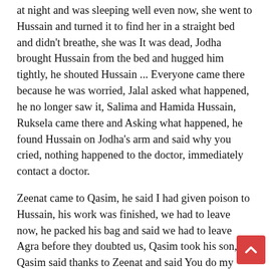at night and was sleeping well even now, she went to Hussain and turned it to find her in a straight bed and didn't breathe, she was It was dead, Jodha brought Hussain from the bed and hugged him tightly, he shouted Hussain ... Everyone came there because he was worried, Jalal asked what happened, he no longer saw it, Salima and Hamida Hussain, Ruksela came there and Asking what happened, he found Hussain on Jodha's arm and said why you cried, nothing happened to the doctor, immediately contact a doctor.
Zeenat came to Qasim, he said I had given poison to Hussain, his work was finished, we had to leave now, he packed his bag and said we had to leave Agra before they doubted us, Qasim took his son, Qasim said thanks to Zeenat and said You do my job, I thank you, Zeenat said we would celebrate after that, we have to leave now.
The doctor checked Hussain and said I was sorry, Hussain had died, he was no longer, all broken-hearted, he shou at the doctor to check again, he talked to Hussain and s